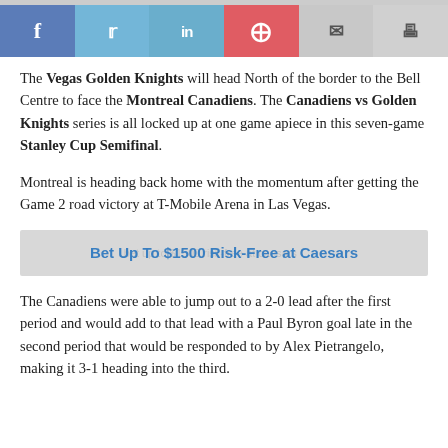[Figure (other): Social sharing bar with Facebook, Twitter, LinkedIn, Pinterest, Email, and Print buttons]
The Vegas Golden Knights will head North of the border to the Bell Centre to face the Montreal Canadiens. The Canadiens vs Golden Knights series is all locked up at one game apiece in this seven-game Stanley Cup Semifinal.
Montreal is heading back home with the momentum after getting the Game 2 road victory at T-Mobile Arena in Las Vegas.
Bet Up To $1500 Risk-Free at Caesars
The Canadiens were able to jump out to a 2-0 lead after the first period and would add to that lead with a Paul Byron goal late in the second period that would be responded to by Alex Pietrangelo, making it 3-1 heading into the third.